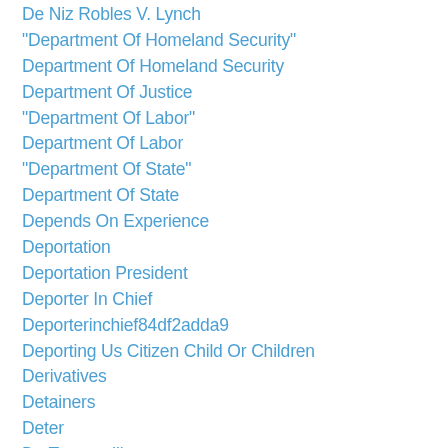De Niz Robles V. Lynch
"Department Of Homeland Security"
Department Of Homeland Security
Department Of Justice
"Department Of Labor"
Department Of Labor
"Department Of State"
Department Of State
Depends On Experience
Deportation
Deportation President
Deporter In Chief
Deporterinchief84df2adda9
Deporting Us Citizen Child Or Children
Derivatives
Detainers
Deter
De Tocqueville
Dhanasar
DHS
Dhs New Rule On Hardship